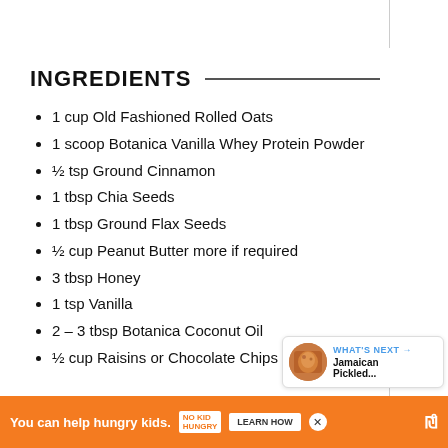INGREDIENTS
1 cup Old Fashioned Rolled Oats
1 scoop Botanica Vanilla Whey Protein Powder
½ tsp Ground Cinnamon
1 tbsp Chia Seeds
1 tbsp Ground Flax Seeds
½ cup Peanut Butter more if required
3 tbsp Honey
1 tsp Vanilla
2 – 3 tbsp Botanica Coconut Oil
½ cup Raisins or Chocolate Chips
[Figure (other): What's Next widget with food image thumbnail and text 'Jamaican Pickled...']
[Figure (other): Ad banner: 'You can help hungry kids. No Kid Hungry. LEARN HOW']